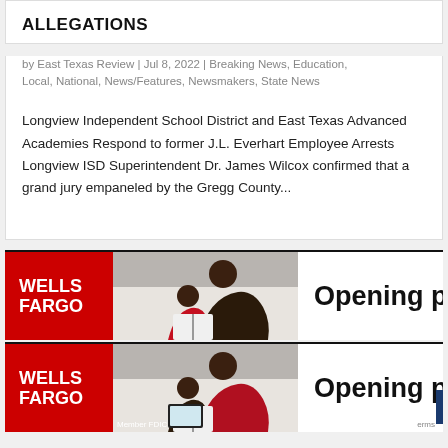ALLEGATIONS
by East Texas Review | Jul 8, 2022 | Breaking News, Education, Local, National, News/Features, Newsmakers, State News
Longview Independent School District and East Texas Advanced Academies Respond to former J.L. Everhart Employee Arrests Longview ISD Superintendent Dr. James Wilcox confirmed that a grand jury empaneled by the Gregg County...
[Figure (infographic): Wells Fargo advertisement banner showing logo on red background, photo of mother and child reading, and text 'Opening pathw']
[Figure (infographic): Wells Fargo advertisement banner (second instance) showing logo on red background, photo of mother and child reading, text 'Opening pathw', Member FDIC text, blue accent, and erms tag]